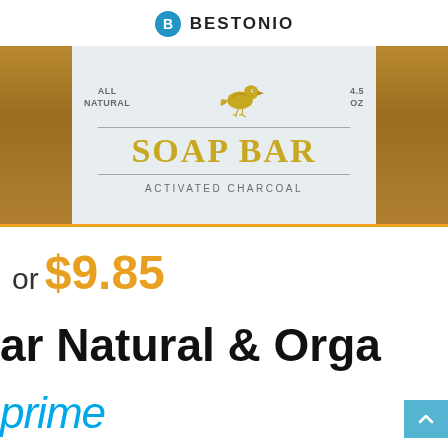BESTONIO
[Figure (photo): Product photo of an All Natural 4.5 OZ Activated Charcoal Soap Bar with a kraft paper wrapped bar and a light blue/gray label featuring a yellow bird silhouette, horizontal divider lines, and the text SOAP BAR in large yellow serif letters.]
or $9.85
ar Natural & Orga
prime